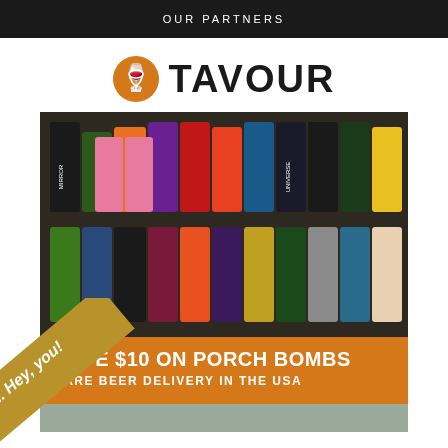OUR PARTNERS
[Figure (logo): Tavour logo with beer glass icon in orange circle and bold text TAVOUR]
[Figure (photo): Collection of craft beer cans stacked and arranged showing various colorful labels including Mirror Universe, Phaser, Dominaze, and other craft beers]
SAVE $10 ON PORCH BOMBS
RARE BEER DELIVERY IN THE USA
[Figure (infographic): Diagonal gold/tan banner in bottom-left corner with italic text 'Psst... Hey, you!']